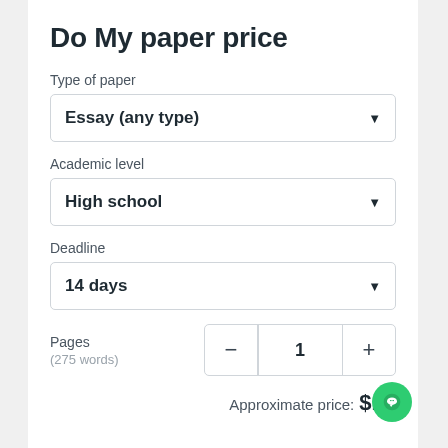Do My paper price
Type of paper
Essay (any type)
Academic level
High school
Deadline
14 days
Pages (275 words)
Approximate price: $10